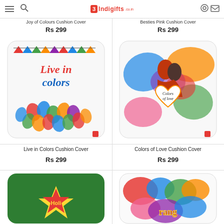3Indigifts
Joy of Colours Cushion Cover
Besties Pink Cushion Cover
Rs 299
Rs 299
[Figure (photo): Live in Colors Cushion Cover - white cushion with colorful handprints and 'Live in colors' text with bunting flags]
[Figure (photo): Colors of Love Cushion Cover - cushion with colorful paint splashes, couple silhouette, and heart with 'Colors of love' text]
Live in Colors Cushion Cover
Colors of Love Cushion Cover
Rs 299
Rs 299
[Figure (photo): Green Holi cushion cover with yellow burst design]
[Figure (photo): Rang colorful paint splash cushion cover]